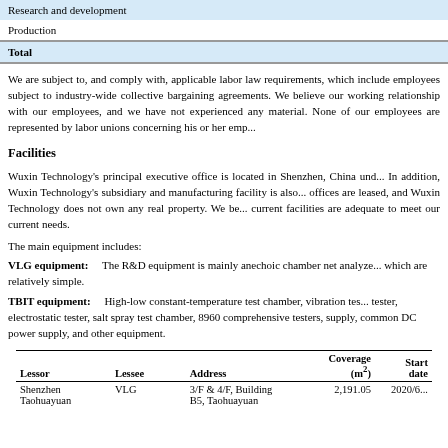|  |  |
| --- | --- |
| Research and development |  |
| Production |  |
| Total |  |
We are subject to, and comply with, applicable labor law requirements, which include employees subject to industry-wide collective bargaining agreements. We believe our working relationship with our employees, and we have not experienced any material. None of our employees are represented by labor unions concerning his or her emp...
Facilities
Wuxin Technology's principal executive office is located in Shenzhen, China und... In addition, Wuxin Technology's subsidiary and manufacturing facility is also... offices are leased, and Wuxin Technology does not own any real property. We be... current facilities are adequate to meet our current needs.
The main equipment includes:
VLG equipment:    The R&D equipment is mainly anechoic chamber net analyze... which are relatively simple.
TBIT equipment:    High-low constant-temperature test chamber, vibration tes... tester, electrostatic tester, salt spray test chamber, 8960 comprehensive testers, supply, common DC power supply, and other equipment.
| Lessor | Lessee | Address | Coverage (m²) | Start date |
| --- | --- | --- | --- | --- |
| Shenzhen Taohuayuan | VLG | 3/F & 4/F, Building B5, Taohuayuan | 2,191.05 | 2020/6... |